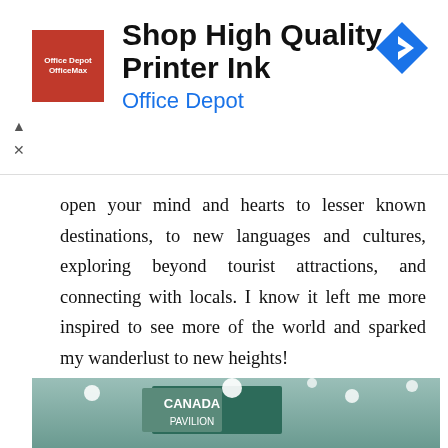[Figure (other): Advertisement banner for Office Depot/OfficeMax showing logo, headline 'Shop High Quality Printer Ink', subheadline 'Office Depot', and a navigation arrow icon]
open your mind and hearts to lesser known destinations, to new languages and cultures, exploring beyond tourist attractions, and connecting with locals. I know it left me more inspired to see more of the world and sparked my wanderlust to new heights!
[Figure (photo): Interior of a large exhibition hall with Canada Pavilion and U.S.A. Pavilion signs visible under bright overhead lights with structural steel ceiling]